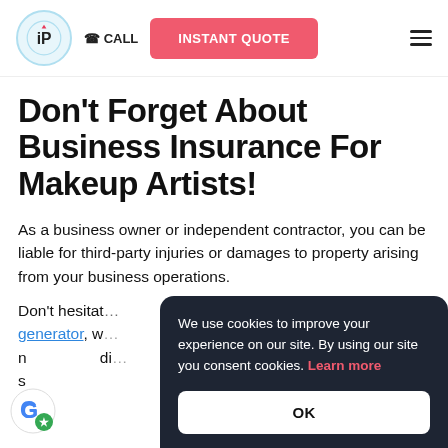[Figure (logo): Insureon UP logo circle with pink arrow]
CALL
INSTANT QUOTE
Don't Forget About Business Insurance For Makeup Artists!
As a business owner or independent contractor, you can be liable for third-party injuries or damages to property arising from your business operations.
Don't hesitate generator, w r di s
We use cookies to improve your experience on our site. By using our site you consent cookies. Learn more
OK